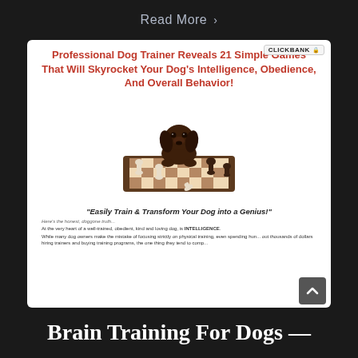Read More >
[Figure (screenshot): Screenshot of a dog training product page (ClickBank affiliate) showing a dachshund puppy sitting on a chess board, with headline 'Professional Dog Trainer Reveals 21 Simple Games That Will Skyrocket Your Dog's Intelligence, Obedience, And Overall Behavior!' and tagline 'Easily Train & Transform Your Dog into a Genius!']
Brain Training For Dogs —